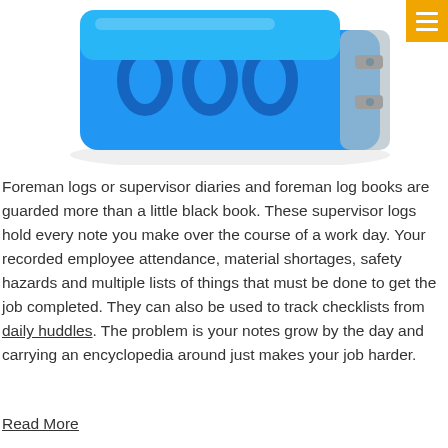[Figure (photo): Blue binder/folder organizer product photo, partially cropped, shown from above against white background]
Foreman logs or supervisor diaries and foreman log books are guarded more than a little black book. These supervisor logs hold every note you make over the course of a work day. Your recorded employee attendance, material shortages, safety hazards and multiple lists of things that must be done to get the job completed. They can also be used to track checklists from daily huddles. The problem is your notes grow by the day and carrying an encyclopedia around just makes your job harder.
Read More